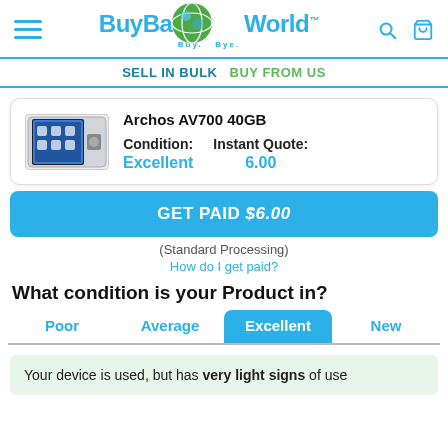BuyBackWorld - Buy. Bye.
SELL IN BULK BUY FROM US
[Figure (screenshot): Product card showing Archos AV700 40GB device image with Condition: Excellent and Instant Quote: 6.00]
GET PAID $6.00
(Standard Processing)
How do I get paid?
What condition is your Product in?
Poor  Average  Excellent  New
Your device is used, but has very light signs of use